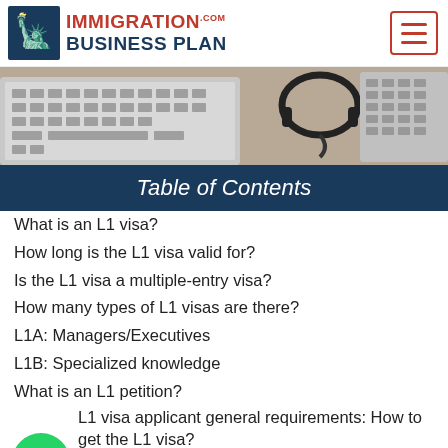Immigration Business Plan .com
[Figure (photo): Laptop keyboard and headset on a wooden desk, banner image]
Table of Contents
What is an L1 visa?
How long is the L1 visa valid for?
Is the L1 visa a multiple-entry visa?
How many types of L1 visas are there?
L1A: Managers/Executives
L1B: Specialized knowledge
What is an L1 petition?
L1 visa applicant general requirements: How to get the L1 visa?
What are the L1 visa required documents?